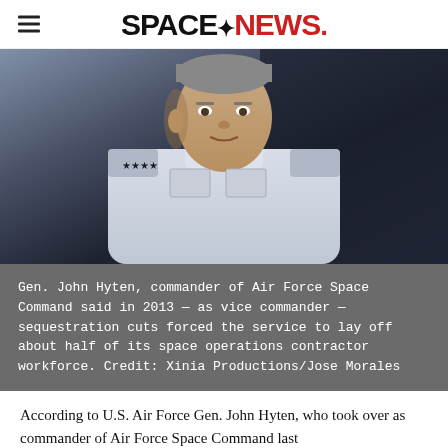SPACENEWS.
[Figure (photo): Gen. John Hyten in US Air Force uniform speaking at a podium, wearing white dress uniform with rank insignia on shoulders, against a dark blue background.]
Gen. John Hyten, commander of Air Force Space Command said in 2013 — as vice commander — sequestration cuts forced the service to lay off about half of its space operations contractor workforce. Credit: Xinia Productions/Jose Morales
According to U.S. Air Force Gen. John Hyten, who took over as commander of Air Force Space Command last